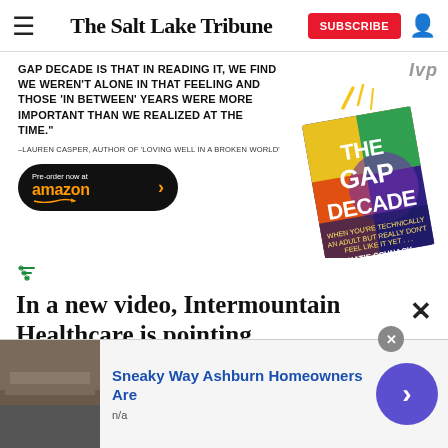The Salt Lake Tribune
[Figure (infographic): Advertisement for 'The Gap Decade' book by Katie Schnack with quote from Lauren Casper, Amazon pre-order button, and book cover image]
In a new video, Intermountain Healthcare is pointing
Utah residents to its Personal Health Questionnaire. It
[Figure (infographic): Bottom banner ad: 'Sneaky Way Ashburn Homeowners Are' with n/a subtitle, rooftop photo, and arrow button]